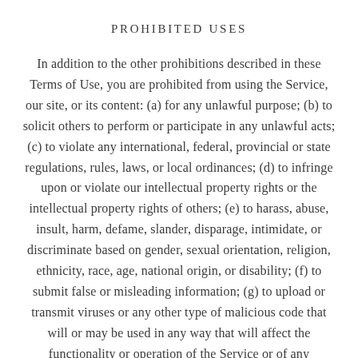PROHIBITED USES
In addition to the other prohibitions described in these Terms of Use, you are prohibited from using the Service, our site, or its content: (a) for any unlawful purpose; (b) to solicit others to perform or participate in any unlawful acts; (c) to violate any international, federal, provincial or state regulations, rules, laws, or local ordinances; (d) to infringe upon or violate our intellectual property rights or the intellectual property rights of others; (e) to harass, abuse, insult, harm, defame, slander, disparage, intimidate, or discriminate based on gender, sexual orientation, religion, ethnicity, race, age, national origin, or disability; (f) to submit false or misleading information; (g) to upload or transmit viruses or any other type of malicious code that will or may be used in any way that will affect the functionality or operation of the Service or of any